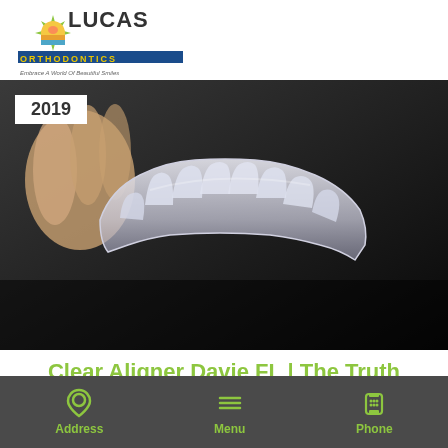[Figure (logo): Lucas Orthodontics logo with colorful sun/beach graphic and text 'Embrace A World Of Beautiful Smiles']
BOOK ONLINE
(NEW PATIENTS ONLY)
2019
[Figure (photo): Close-up photo of a clear dental aligner/retainer being held by a hand against a dark background]
Clear Aligner Davie FL | The Truth About Clear Aligners
Address   Menu   Phone